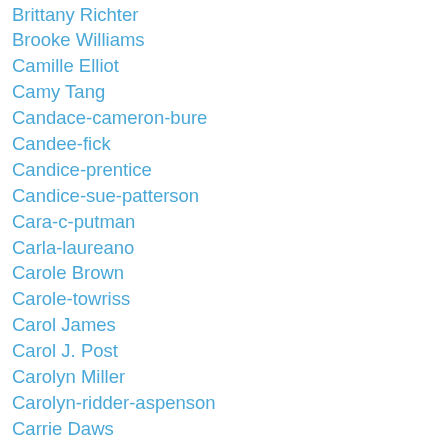Brittany Richter
Brooke Williams
Camille Elliot
Camy Tang
Candace-cameron-bure
Candee-fick
Candice-prentice
Candice-sue-patterson
Cara-c-putman
Carla-laureano
Carole Brown
Carole-towriss
Carol James
Carol J. Post
Carolyn Miller
Carolyn-ridder-aspenson
Carrie Daws
Carrie Fancett Pagels
Carrie Stuart Parks
Carrie Turansky
Caryl Mcadoo